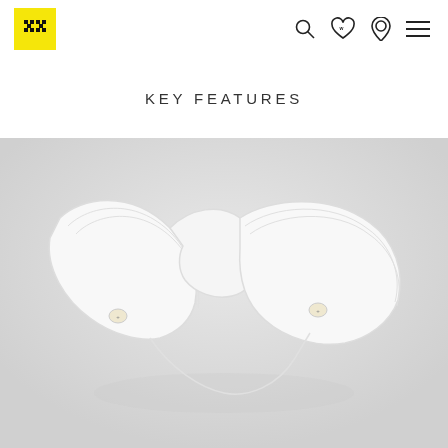Vanguard (logo) — navigation icons: search, wishlist, account, menu
KEY FEATURES
[Figure (photo): Close-up product photo of a white dress shirt collar on a light grey/white background, showing the collar band with stays/buttons visible]